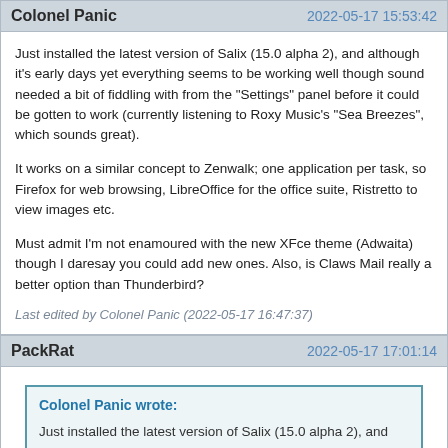Colonel Panic | 2022-05-17 15:53:42
Just installed the latest version of Salix (15.0 alpha 2), and although it's early days yet everything seems to be working well though sound needed a bit of fiddling with from the "Settings" panel before it could be gotten to work (currently listening to Roxy Music's "Sea Breezes", which sounds great).
It works on a similar concept to Zenwalk; one application per task, so Firefox for web browsing, LibreOffice for the office suite, Ristretto to view images etc.
Must admit I'm not enamoured with the new XFce theme (Adwaita) though I daresay you could add new ones. Also, is Claws Mail really a better option than Thunderbird?
Last edited by Colonel Panic (2022-05-17 16:47:37)
PackRat | 2022-05-17 17:01:14
Colonel Panic wrote:
Just installed the latest version of Salix (15.0 alpha 2), and although it's early days yet everything seems to be working